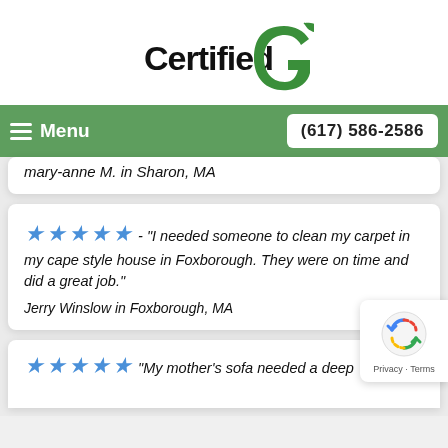[Figure (logo): CertifiedG green logo with stylized G and leaf]
Menu   (617) 586-2586
mary-anne M. in Sharon, MA
★★★★★ - "I needed someone to clean my carpet in my cape style house in Foxborough. They were on time and did a great job."
Jerry Winslow in Foxborough, MA
★★★★★ - "My mother's sofa needed a deep